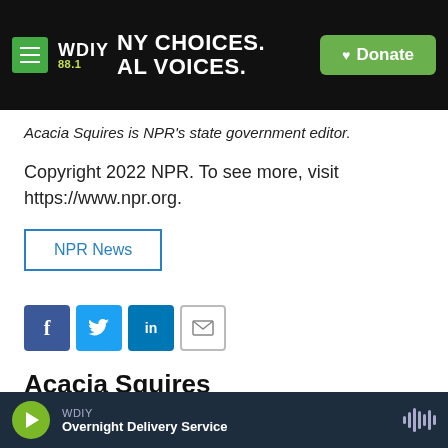WDIY 88.1 — NY CHOICES. AL VOICES. | Donate
Acacia Squires is NPR's state government editor.
Copyright 2022 NPR. To see more, visit https://www.npr.org.
NPR News
[Figure (infographic): Social sharing icons: Facebook (f), Twitter (bird), LinkedIn (in), Email (envelope)]
Acacia Squires
See stories by Acacia Squires
WDIY — Overnight Delivery Service (player bar)